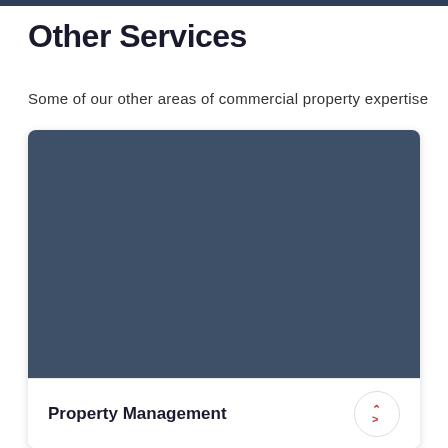Other Services
Some of our other areas of commercial property expertise
[Figure (photo): Dark blue-gray placeholder image card for a service listing]
Property Management